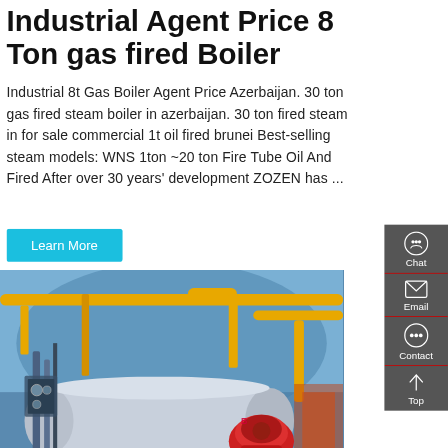Industrial Agent Price 8 Ton gas fired Boiler
Industrial 8t Gas Boiler Agent Price Azerbaijan. 30 ton gas fired steam boiler in azerbaijan. 30 ton fired steam in for sale commercial 1t oil fired brunei Best-selling steam models: WNS 1ton ~20 ton Fire Tube Oil And Fired After over 30 years' development ZOZEN has ...
[Figure (photo): Industrial gas-fired boiler in a factory setting, large horizontal cylindrical boiler with blue/grey body and red burner, yellow gas pipes overhead, blue industrial environment]
20t oil fir... Distributor Azerbaijan